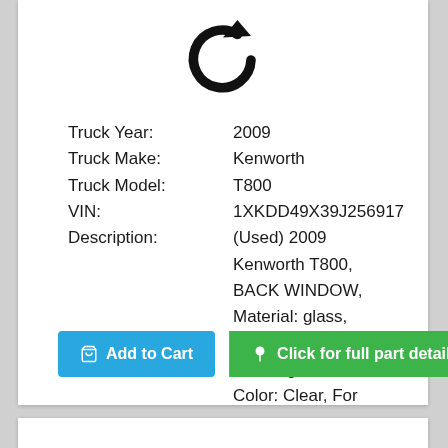[Figure (logo): Circular refresh/reload arrow icon in black]
| Truck Year: | 2009 |
| Truck Make: | Kenworth |
| Truck Model: | T800 |
| VIN: | 1XKDD49X39J256917 |
| Description: | (Used) 2009 Kenworth T800, BACK WINDOW, Material: glass, Shape: Rectangular, Color: Clear, For mo... |
Add to Cart
Click for full part details